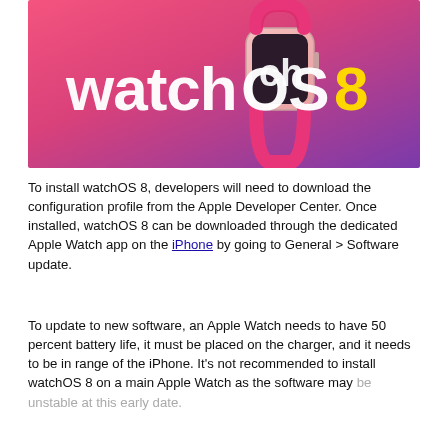[Figure (illustration): watchOS 8 promotional banner showing an Apple Watch with a pink sport loop band against a pink-to-purple gradient background. Large white text reads 'watchOS' and large yellow text reads '8'.]
To install watchOS 8, developers will need to download the configuration profile from the Apple Developer Center. Once installed, watchOS 8 can be downloaded through the dedicated Apple Watch app on the iPhone by going to General > Software update.
To update to new software, an Apple Watch needs to have 50 percent battery life, it must be placed on the charger, and it needs to be in range of the iPhone. It's not recommended to install watchOS 8 on a main Apple Watch as the software may be unstable at this early date.